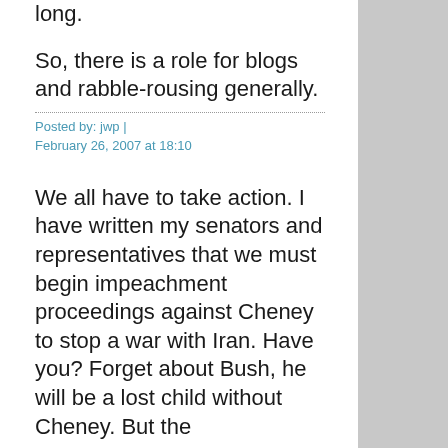long.
So, there is a role for blogs and rabble-rousing generally.
Posted by: jwp | February 26, 2007 at 18:10
We all have to take action. I have written my senators and representatives that we must begin impeachment proceedings against Cheney to stop a war with Iran. Have you? Forget about Bush, he will be a lost child without Cheney. But the